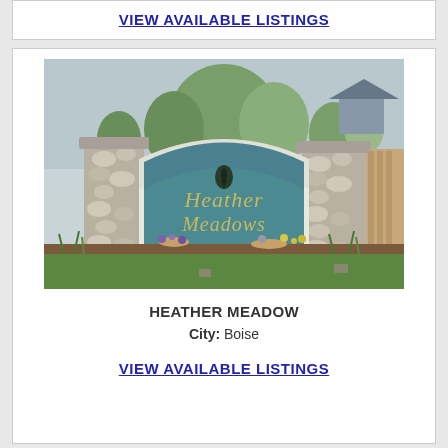VIEW AVAILABLE LISTINGS
[Figure (photo): Entrance sign for Heather Meadows neighborhood. A stone-pillared monument sign with teal background reads 'Heather Meadows' in gold script, flanked by river rock columns, with green landscaping and trees in the background.]
HEATHER MEADOW
City: Boise
VIEW AVAILABLE LISTINGS